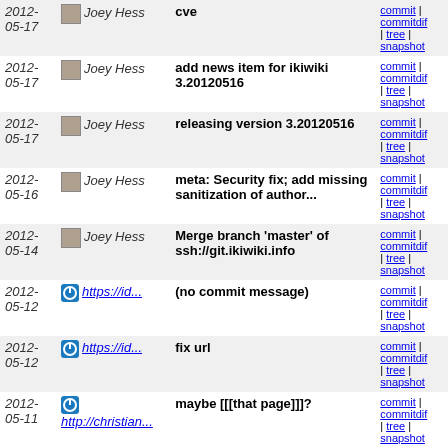| Date | Author | Message | Links |
| --- | --- | --- | --- |
| 2012-05-17 | Joey Hess | cve | commit | commitdiff | tree | snapshot |
| 2012-05-17 | Joey Hess | add news item for ikiwiki 3.20120516 | commit | commitdiff | tree | snapshot |
| 2012-05-17 | Joey Hess | releasing version 3.20120516 | commit | commitdiff | tree | snapshot |
| 2012-05-16 | Joey Hess | meta: Security fix; add missing sanitization of author... | commit | commitdiff | tree | snapshot |
| 2012-05-14 | Joey Hess | Merge branch 'master' of ssh://git.ikiwiki.info | commit | commitdiff | tree | snapshot |
| 2012-05-12 | https://id... | (no commit message) | commit | commitdiff | tree | snapshot |
| 2012-05-12 | https://id... | fix url | commit | commitdiff | tree | snapshot |
| 2012-05-11 | http://christian... | maybe [[[that page]]]? | commit | commitdiff | tree | snapshot |
| 2012-05-11 | Joey Hess | Merge branch 'master' of ssh://git.ikiwiki.info | commit | commitdiff | tree | snapshot |
| 2012-05-10 | Giuseppe Bilotta | Get started on my user page, fix name spelling, link... | commit | commitdiff | tree | snapshot |
| 2012- | Giuseppe Bilotta | Introduce my linkbase branch | commit |